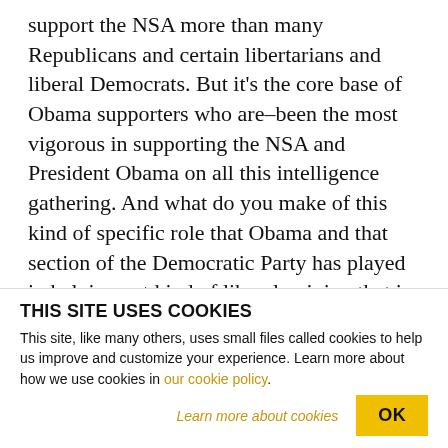support the NSA more than many Republicans and certain libertarians and liberal Democrats. But it's the core base of Obama supporters who are-been the most vigorous in supporting the NSA and President Obama on all this intelligence gathering. And what do you make of this kind of specific role that Obama and that section of the Democratic Party has played in helping get kind of liberal opinion that in theory would have been against all this on board?
MCGOVERN: It's unconscionable and it's real. Okay?
THIS SITE USES COOKIES
This site, like many others, uses small files called cookies to help us improve and customize your experience. Learn more about how we use cookies in our cookie policy.
Learn more about cookies   OK